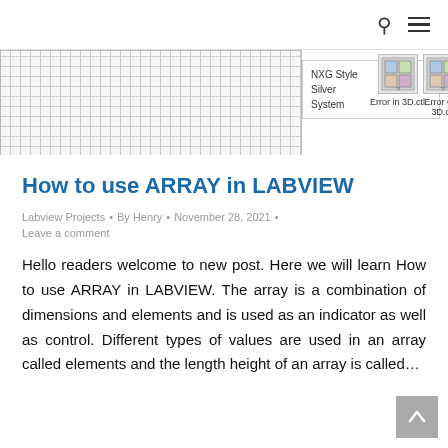[Figure (screenshot): LabVIEW interface screenshot showing a grid/panel area with NXG Style Silver System options and Error In 3D.ctl and Error Out 3D.ctl controls]
How to use ARRAY in LABVIEW
Labview Projects • By Henry • November 28, 2021 • Leave a comment
Hello readers welcome to new post. Here we will learn How to use ARRAY in LABVIEW. The array is a combination of dimensions and elements and is used as an indicator as well as control. Different types of values are used in an array called elements and the length height of an array is called…